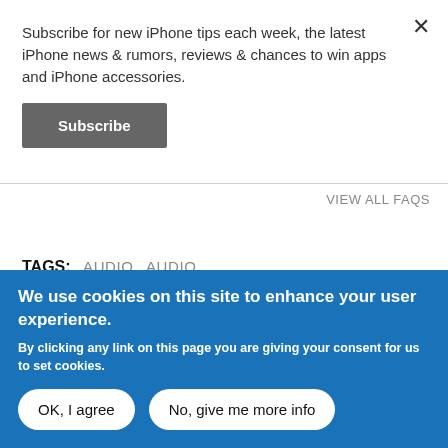Subscribe for new iPhone tips each week, the latest iPhone news & rumors, reviews & chances to win apps and iPhone accessories.
Subscribe
VIEW ALL FAQS
TAGS: AUDIO AUDIO
We use cookies on this site to enhance your user experience.
By clicking any link on this page you are giving your consent for us to set cookies.
OK, I agree
No, give me more info